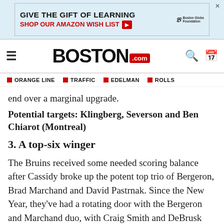[Figure (other): Advertisement banner for Boston Globe Foundation: 'GIVE THE GIFT OF LEARNING / SHOP OUR AMAZON WISH LIST' with red arrow button and Boston Globe Foundation logo]
BOSTON.com — navigation bar with hamburger menu, Boston.com logo, search and calendar icons
ORANGE LINE | TRAFFIC | EDELMAN | ROLLS — topic navigation bar
end over a marginal upgrade.
Potential targets: Klingberg, Severson and Ben Chiarot (Montreal)
3. A top-six winger
The Bruins received some needed scoring balance after Cassidy broke up the potent top trio of Bergeron, Brad Marchand and David Pastrnak. Since the New Year, they've had a rotating door with the Bergeron and Marchand duo, with Craig Smith and DeBrusk notably serving as the top-line